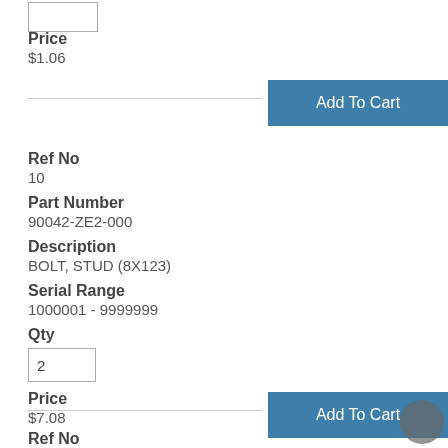Price
$1.06
Add To Cart
Ref No
10
Part Number
90042-ZE2-000
Description
BOLT, STUD (8X123)
Serial Range
1000001 - 9999999
Qty
2
Price
$7.08
Add To Cart
Ref No